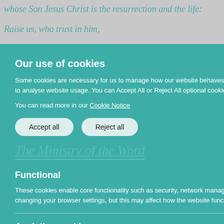whose Son Jesus Christ is the resurrection and the life:
Raise us, who trust in him,
Our use of cookies
Some cookies are necessary for us to manage how our website behaves while other optional, or non-necessary, cookies help us to analyse website usage. You can Accept All or Reject All optional cookies or control individual cookie types below.
You can read more in our Cookie Notice
Accept all
Reject all
The Ministry of the Word
Functional
These cookies enable core functionality such as security, network management, and accessibility. You may disable these by changing your browser settings, but this may affect how the website functions.
Analytics cookies
Analytical cookies help us to improve our website by collecting and reporting information on its usage.